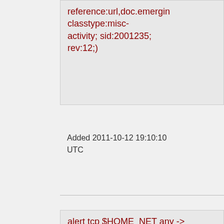reference:url,doc.emergin classtype:misc-activity; sid:2001235; rev:12;)
Added 2011-10-12 19:10:10 UTC
alert tcp $HOME_NET any -> $EXTERNAL_NET $HTTP_PORTS (msg:"ET MALWARE Weatherbug"; flow: to_server,established; content:"WxAlertIsapi"; nocase; http_uri; threshold: type limit, track by_src, count 1, seconds 3600;